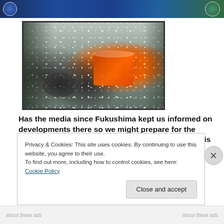[Figure (photo): Snowy rescue scene with emergency workers in orange suits amid heavy snowfall and dark winter trees]
Has the media since Fukushima kept us informed on developments there so we might prepare for the consequences coming to us from that? I'll put it this
Privacy & Cookies: This site uses cookies. By continuing to use this website, you agree to their use.
To find out more, including how to control cookies, see here: Cookie Policy
Close and accept